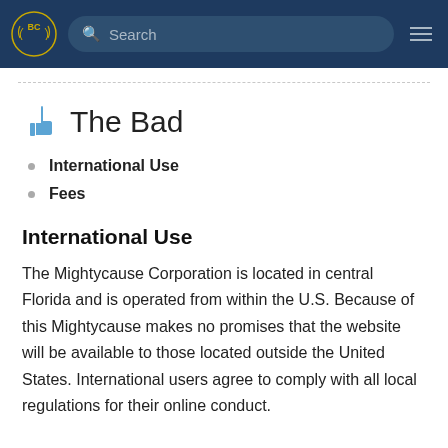BC [logo] Search [hamburger menu]
The Bad
International Use
Fees
International Use
The Mightycause Corporation is located in central Florida and is operated from within the U.S. Because of this Mightycause makes no promises that the website will be available to those located outside the United States. International users agree to comply with all local regulations for their online conduct.